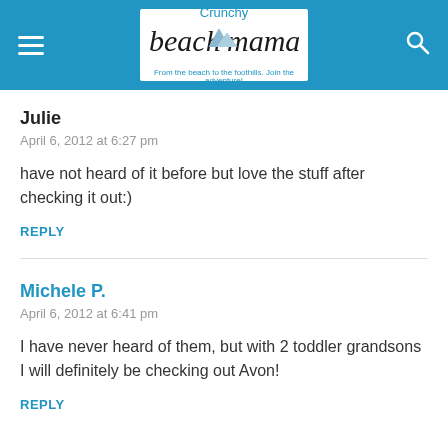Crunchy Beach Mama — From the beach to the foothills. Join the adventure!
Julie
April 6, 2012 at 6:27 pm
have not heard of it before but love the stuff after checking it out:)
REPLY
Michele P.
April 6, 2012 at 6:41 pm
I have never heard of them, but with 2 toddler grandsons I will definitely be checking out Avon!
REPLY